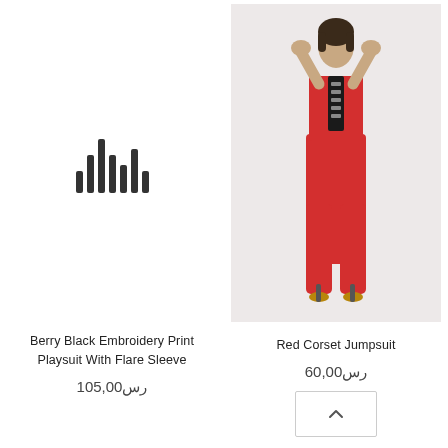[Figure (other): Sound/audio waveform icon placeholder for Berry Black Embroidery Print Playsuit product]
Berry Black Embroidery Print Playsuit With Flare Sleeve
رس105,00
[Figure (photo): Fashion model wearing a red strapless corset jumpsuit with black closure detail, posing on light background]
Red Corset Jumpsuit
رس60,00